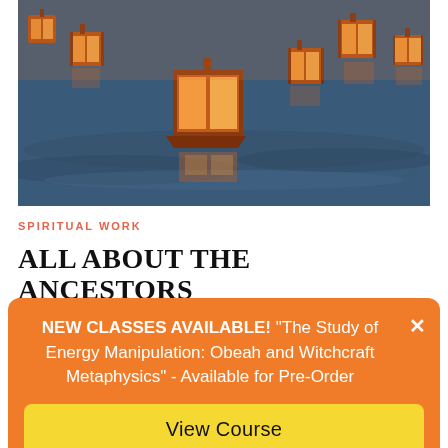[Figure (photo): Floating paper lanterns on water at dusk/night, glowing orange and yellow, with reflections on calm blue water]
SPIRITUAL WORK
ALL ABOUT THE ANCESTORS
NEW CLASSES AVAILABLE! "The Study of Energy Manipulation: Obeah and Witchcraft Metaphysics" - Available for Pre-Order
View Course